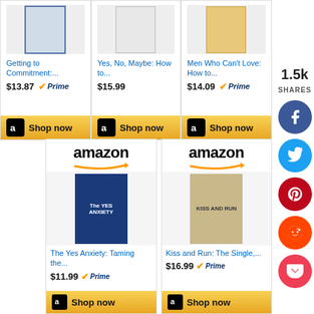[Figure (screenshot): Amazon product cards showing books for sale with prices and Shop now buttons, plus social media share sidebar]
1.5k SHARES
Getting to Commitment:... $13.87 Prime
Yes, No, Maybe: How to... $15.99
Men Who Can't Love: How to... $14.09 Prime
The Yes Anxiety: Taming the... $11.99 Prime
Kiss and Run: The Single,... $16.99 Prime